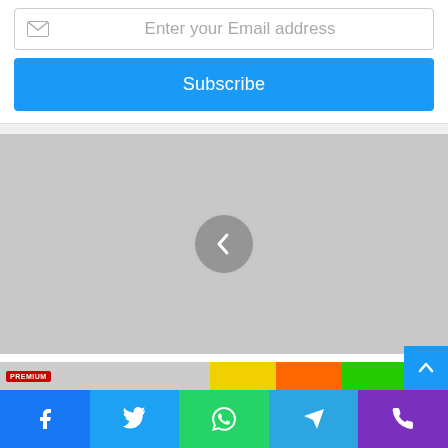Enter your Email address
Subscribe
[Figure (screenshot): Gray placeholder image with a circular back navigation arrow (left chevron) in center]
Why You Need A Half Slim SATA For Your Hard Drive
[Figure (screenshot): Bottom strip with premium badge and social share bar with Facebook, Twitter, WhatsApp, Telegram, Phone icons]